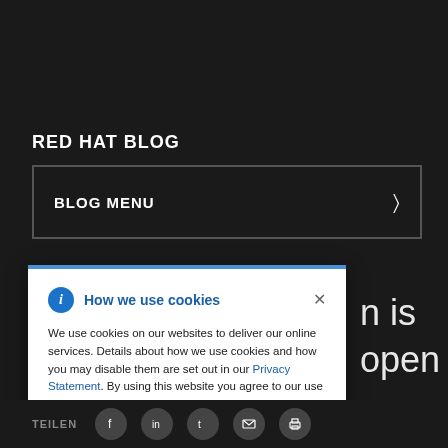RED HAT BLOG
BLOG MENU
How we use cookies
We use cookies on our websites to deliver our online services. Details about how we use cookies and how you may disable them are set out in our Privacy Statement. By using this website you agree to our use of cookies.
n is open
TEILEN